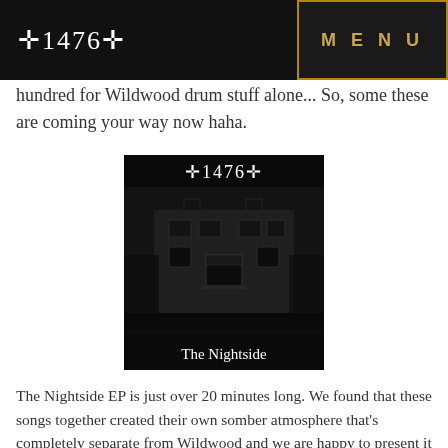+1476+ MENU
hundred for Wildwood drum stuff alone... So, some these are coming your way now haha.
[Figure (photo): Album cover for 'The Nightside' by +1476+. Black background with a dark, moody photograph of a large white building/house at night. The band logo '+1476+' appears at the top in decorative white cross-style lettering, and 'The Nightside' is written in white serif text at the bottom.]
The Nightside EP is just over 20 minutes long. We found that these songs together created their own somber atmosphere that's completely separate from Wildwood and we are happy to present it in this way to you.